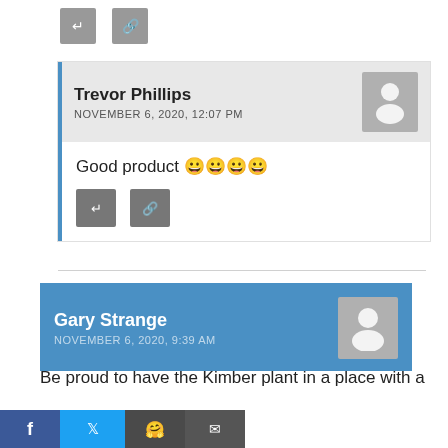[Figure (other): Two small grey icon buttons (reply and link) at top]
Trevor Phillips
NOVEMBER 6, 2020, 12:07 PM
Good product 😊😊😊😊
[Figure (other): Two grey icon buttons (reply, link) inside comment]
Gary Strange
NOVEMBER 6, 2020, 9:39 AM
Be proud to have the Kimber plant in a place with a
[Figure (other): Social share bar: Facebook, Twitter, Reddit, Email buttons]